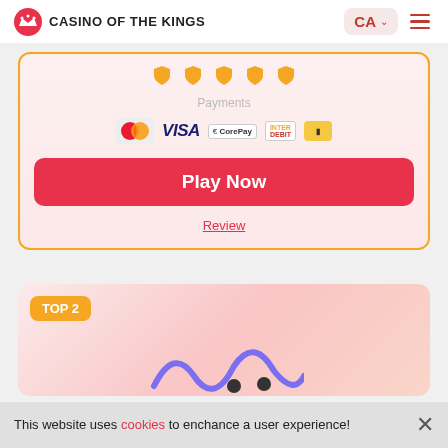CASINO OF THE KINGS | CA
[Figure (screenshot): Casino listing card with rating shields, payment icons (Mastercard, Visa, CorePay, Interac Debit, Instadebit), a red Play Now button, and a Review link. Below it is a second card labeled TOP 2.]
Payments
Play Now
Review
TOP 2
This website uses cookies to enchance a user experience!